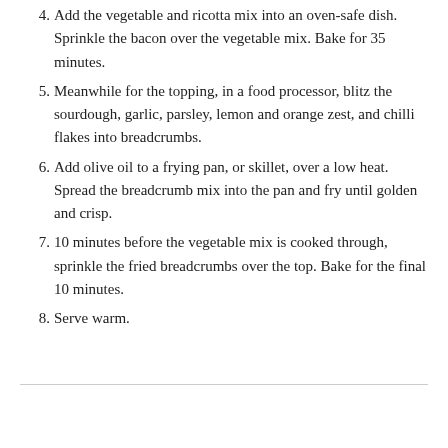4. Add the vegetable and ricotta mix into an oven-safe dish. Sprinkle the bacon over the vegetable mix. Bake for 35 minutes.
5. Meanwhile for the topping, in a food processor, blitz the sourdough, garlic, parsley, lemon and orange zest, and chilli flakes into breadcrumbs.
6. Add olive oil to a frying pan, or skillet, over a low heat. Spread the breadcrumb mix into the pan and fry until golden and crisp.
7. 10 minutes before the vegetable mix is cooked through, sprinkle the fried breadcrumbs over the top. Bake for the final 10 minutes.
8. Serve warm.
[Figure (logo): Eat FRESH logo with colorful swirl and leaf]
Certified Organic e-Greengrocery
[Figure (other): QR code]